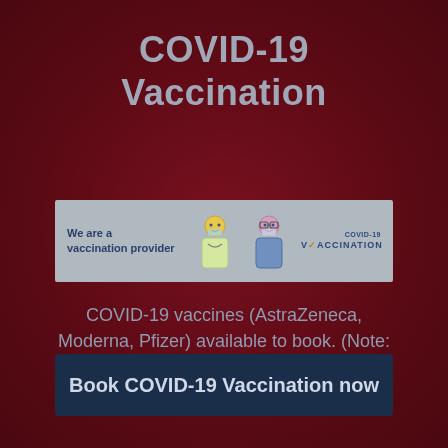COVID-19 Vaccination
[Figure (infographic): COVID-19 vaccination provider banner showing two illustrated healthcare worker figures and COVID-19 VACCINATION logo text, with 'We are a vaccination provider' text on grey background]
COVID-19 vaccines (AstraZeneca, Moderna, Pfizer) available to book. (Note: we are not vaccinating 5-11 yrs).
Book COVID-19 Vaccination now